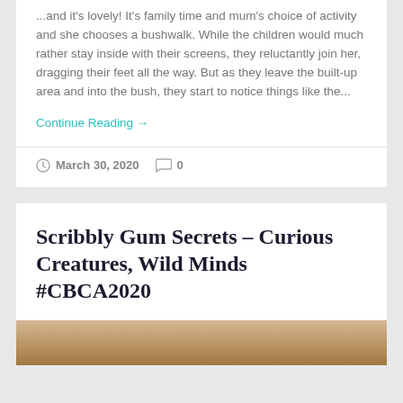...and it's lovely! It's family time and mum's choice of activity and she chooses a bushwalk. While the children would much rather stay inside with their screens, they reluctantly join her, dragging their feet all the way.  But as they leave the built-up area and into the bush, they start to notice things like the...
Continue Reading →
March 30, 2020   0
Scribbly Gum Secrets – Curious Creatures, Wild Minds #CBCA2020
[Figure (photo): Bottom strip showing partial image, appears to be a nature/book related photo with brown tones]